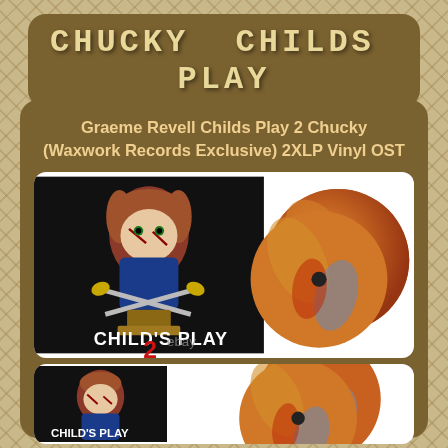CHUCKY CHILDS PLAY
Graeme Revell Childs Play 2 Chucky (Waxwork Records Exclusive) 2XLP Vinyl OST
[Figure (photo): Product photo showing Child's Play 2 vinyl record with Chucky doll movie cover art on a black album cover alongside marbled orange/red/blue vinyl records. eBay watermark visible.]
[Figure (photo): Second product photo showing same Child's Play 2 vinyl album and marbled colored vinyl records, partially cropped.]